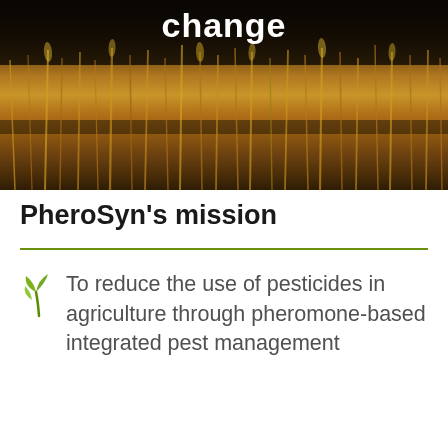[Figure (photo): Photograph of wheat/grain stalks with dark overlay at top, showing dried golden wheat field]
change
PheroSyn’s mission
To reduce the use of pesticides in agriculture through pheromone-based integrated pest management